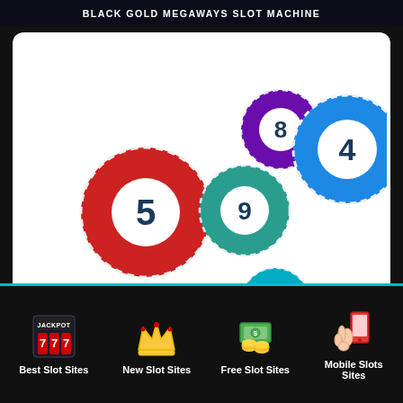BLACK GOLD MEGAWAYS SLOT MACHINE
[Figure (illustration): Colorful lottery/bingo balls with numbers 1, 2, 4, 5, 6, 7, 8, 9 floating on white background - Bonanza Megaways slot machine illustration]
BONANZA MEGAWAYS SLOT MACHINE
[Figure (illustration): Partially visible lottery balls image for third slot machine card]
Best Slot Sites | New Slot Sites | Free Slot Sites | Mobile Slots Sites